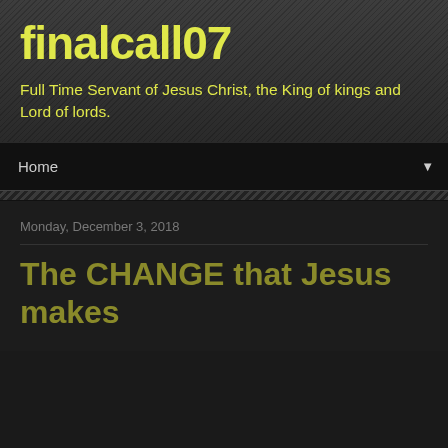finalcall07
Full Time Servant of Jesus Christ, the King of kings and Lord of lords.
Home
Monday, December 3, 2018
The CHANGE that Jesus makes